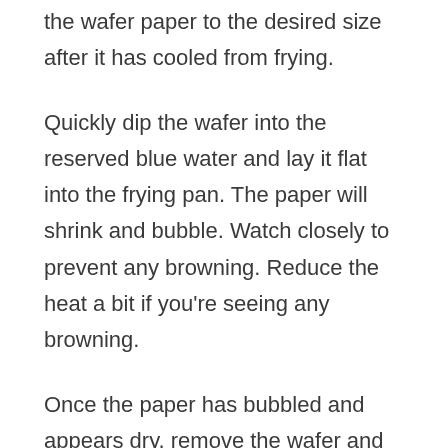the wafer paper to the desired size after it has cooled from frying.
Quickly dip the wafer into the reserved blue water and lay it flat into the frying pan. The paper will shrink and bubble. Watch closely to prevent any browning. Reduce the heat a bit if you're seeing any browning.
Once the paper has bubbled and appears dry, remove the wafer and let it cool on a silicone mat or a piece of parchment paper.